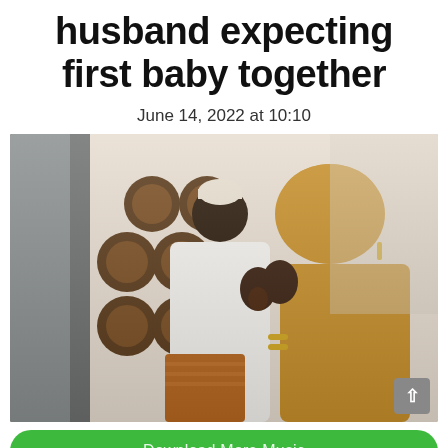husband expecting first baby together
June 14, 2022 at 10:10
[Figure (photo): A couple in traditional Nigerian/West African attire. The man wears a white embroidered agbada and a patterned kufi cap; the woman wears a golden/amber embroidered hijab and matching dress with gold bangles and earrings. They are leaning toward each other intimately, with the woman's henna-decorated hands raised near her face. A decorative wall with circular wooden elements is visible in the background.]
Download More Music